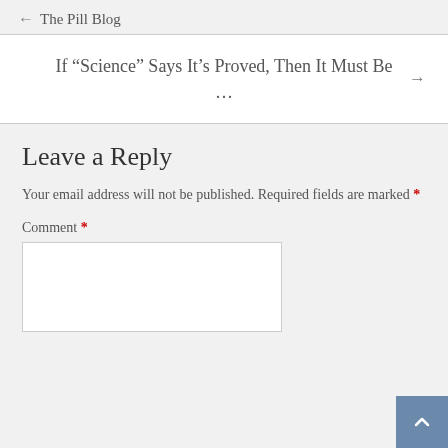← The Pill Blog
If “Science” Says It’s Proved, Then It Must Be ... →
Leave a Reply
Your email address will not be published. Required fields are marked *
Comment *